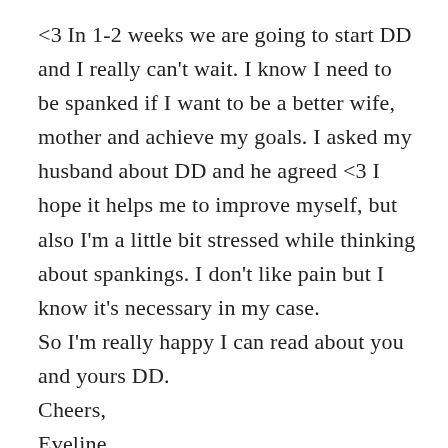<3 In 1-2 weeks we are going to start DD and I really can't wait. I know I need to be spanked if I want to be a better wife, mother and achieve my goals. I asked my husband about DD and he agreed <3 I hope it helps me to improve myself, but also I'm a little bit stressed while thinking about spankings. I don't like pain but I know it's necessary in my case.
So I'm really happy I can read about you and yours DD.
Cheers,
Eveline